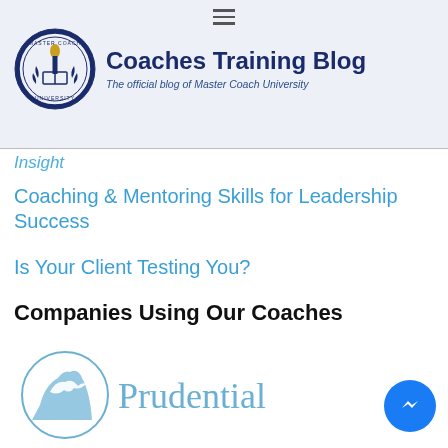Coaches Training Blog – The official blog of Master Coach University
Insight
Coaching & Mentoring Skills for Leadership Success
Is Your Client Testing You?
Companies Using Our Coaches
[Figure (logo): Prudential company logo with rock-of-Gibraltar bird icon and 'Prudential' text in light blue]